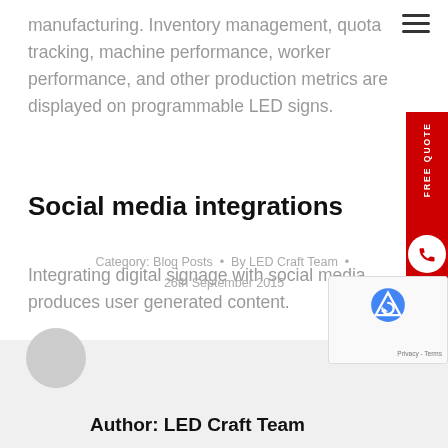manufacturing. Inventory management, quota tracking, machine performance, worker performance, and other production metrics are displayed on programmable LED signs.
Social media integrations
Integrating digital signage with social media produces user generated content.
Category: Blog Posts  •  By LED Craft Team  •  26th September 2015
Author: LED Craft Team